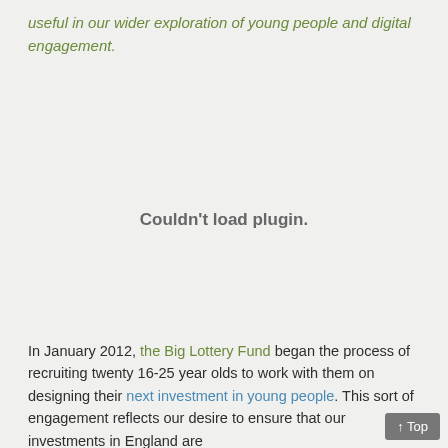useful in our wider exploration of young people and digital engagement.
[Figure (other): Couldn't load plugin. — placeholder area where an embedded plugin/media was supposed to render]
In January 2012, the Big Lottery Fund began the process of recruiting twenty 16-25 year olds to work with them on designing their next investment in young people. This sort of engagement reflects our desire to ensure that our investments in England are